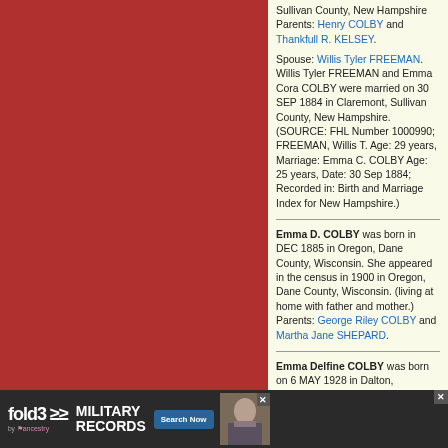Sullivan County, New Hampshire Parents: Henry COLBY and Thankfull R. KELSEY.
Spouse: Willis Tyler FREEMAN. Willis Tyler FREEMAN and Emma Cora COLBY were married on 30 SEP 1884 in Claremont, Sullivan County, New Hampshire. (SOURCE: FHL Number 1000990; FREEMAN, Willis T. Age: 29 years, Marriage: Emma C. COLBY Age: 25 years, Date: 30 Sep 1884; Recorded in: Birth and Marriage Index for New Hampshire.)
Emma D. COLBY was born in DEC 1885 in Oregon, Dane County, Wisconsin. She appeared in the census in 1900 in Oregon, Dane County, Wisconsin. (living at home with father and mother.) Parents: George Riley COLBY and Martha Jane SHEPARD.
Emma Delfine COLBY was born on 6 MAY 1928 in Dalton, Muskegon County, Michigan,...